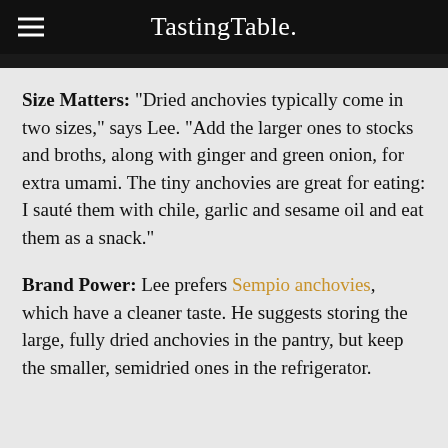Tasting Table.
Size Matters: "Dried anchovies typically come in two sizes," says Lee. "Add the larger ones to stocks and broths, along with ginger and green onion, for extra umami. The tiny anchovies are great for eating: I sauté them with chile, garlic and sesame oil and eat them as a snack."
Brand Power: Lee prefers Sempio anchovies, which have a cleaner taste. He suggests storing the large, fully dried anchovies in the pantry, but keep the smaller, semidried ones in the refrigerator.